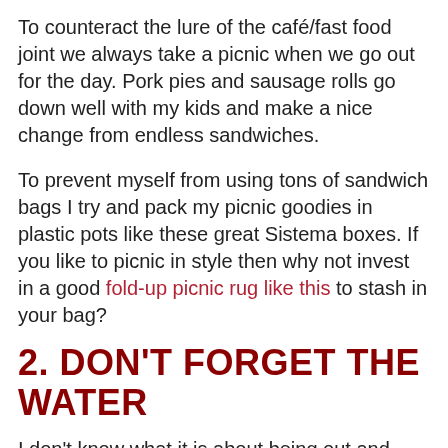To counteract the lure of the café/fast food joint we always take a picnic when we go out for the day. Pork pies and sausage rolls go down well with my kids and make a nice change from endless sandwiches.
To prevent myself from using tons of sandwich bags I try and pack my picnic goodies in plastic pots like these great Sistema boxes. If you like to picnic in style then why not invest in a good fold-up picnic rug like this to stash in your bag?
2. DON'T FORGET THE WATER
I don't know what it is about being out and about